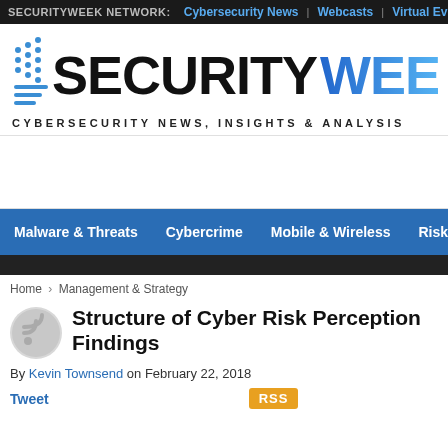SECURITYWEEK NETWORK: Cybersecurity News | Webcasts | Virtual Even
[Figure (logo): SecurityWeek logo with speed-lines graphic and tagline: CYBERSECURITY NEWS, INSIGHTS & ANALYSIS]
Malware & Threats | Cybercrime | Mobile & Wireless | Risk & Complia
Home › Management & Strategy
Structure of Cyber Risk Perception Findings
By Kevin Townsend on February 22, 2018
Tweet   RSS